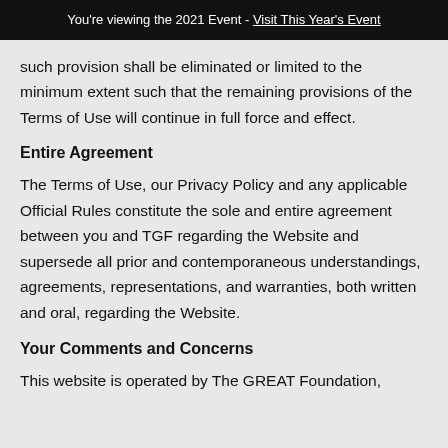You're viewing the 2021 Event - Visit This Year's Event
such provision shall be eliminated or limited to the minimum extent such that the remaining provisions of the Terms of Use will continue in full force and effect.
Entire Agreement
The Terms of Use, our Privacy Policy and any applicable Official Rules constitute the sole and entire agreement between you and TGF regarding the Website and supersede all prior and contemporaneous understandings, agreements, representations, and warranties, both written and oral, regarding the Website.
Your Comments and Concerns
This website is operated by The GREAT Foundation,